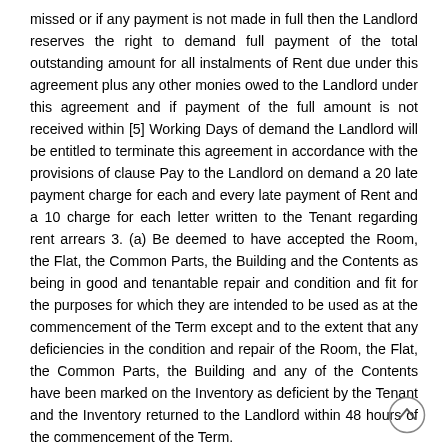missed or if any payment is not made in full then the Landlord reserves the right to demand full payment of the total outstanding amount for all instalments of Rent due under this agreement plus any other monies owed to the Landlord under this agreement and if payment of the full amount is not received within [5] Working Days of demand the Landlord will be entitled to terminate this agreement in accordance with the provisions of clause Pay to the Landlord on demand a 20 late payment charge for each and every late payment of Rent and a 10 charge for each letter written to the Tenant regarding rent arrears 3. (a) Be deemed to have accepted the Room, the Flat, the Common Parts, the Building and the Contents as being in good and tenantable repair and condition and fit for the purposes for which they are intended to be used as at the commencement of the Term except and to the extent that any deficiencies in the condition and repair of the Room, the Flat, the Common Parts, the Building and any of the Contents have been marked on the Inventory as deficient by the Tenant and the Inventory returned to the Landlord within 48 hours of the commencement of the Term.